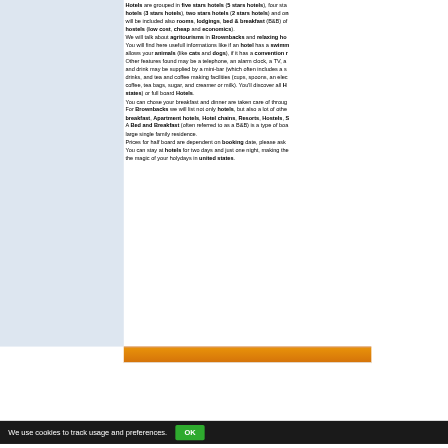Hotels are grouped in five stars hotels (5 stars hotels), four stars hotels (3 stars hotels), two stars hotels (2 stars hotels) and one stars hotels will be included also rooms, lodgings, bed & breakfast (B&B) of hostels (low cost, cheap and economics). We will talk about agritourisms in Brownbacks and relaxing ho... You will find here usefull informations like if an hotel has a swimm... allows your animals (like cats and dogs), if it has a convention r... Other features found may be a telephone, an alarm clock, a TV, a... and drink may be supplied by a mini-bar (which often includes a s... drinks, and tea and coffee making facilities (cups, spoons, an elec... coffee, tea bags, sugar, and creamer or milk). You'll discover all H... states) or full board Hotels. You can chose your breakfast and dinner are taken care of throug... For Brownbacks we will list not only hotels, but also a lot of othe... breakfast, Apartment hotels, Hotel chains, Resorts, Hostels, S... A Bed and Breakfast (often referred to as a B&B) is a type of boa... large single family residence. Prices for half board are dependent on booking date, please ask... You can stay at hotels for two days and just one night, making the... the magic of your holydays in united states.
[Figure (other): Orange bar / banner element]
We use cookies to track usage and preferences. OK